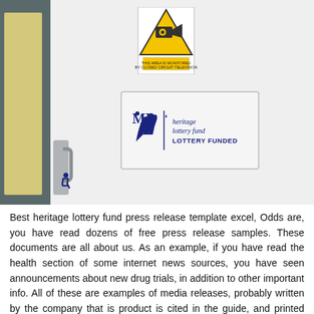[Figure (photo): Photograph of a white room door with a CCTV warning sign at the top and a Heritage Lottery Fund 'LOTTERY FUNDED' plaque mounted on the wall beside it. A yellow door panel, door handle, and disability symbol are visible on the left.]
Best heritage lottery fund press release template excel, Odds are, you have read dozens of free press release samples. These documents are all about us. As an example, if you have read the health section of some internet news sources, you have seen announcements about new drug trials, in addition to other important info. All of these are examples of media releases, probably written by the company that is product is cited in the guide, and printed with a significant newswire or media outlet.